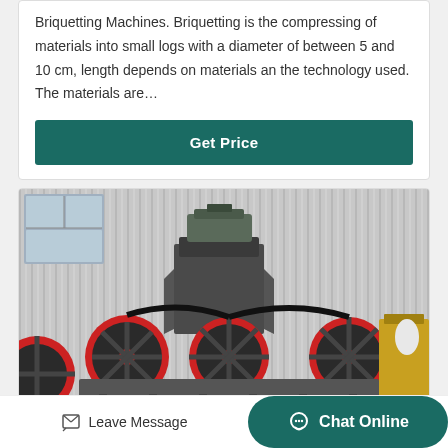Briquetting Machines. Briquetting is the compressing of materials into small logs with a diameter of between 5 and 10 cm, length depends on materials an the technology used. The materials are…
Get Price
[Figure (photo): Industrial briquetting/crushing machine with large red and black flywheels and belt drives, photographed in a factory warehouse with corrugated metal walls]
Leave Message
Chat Online